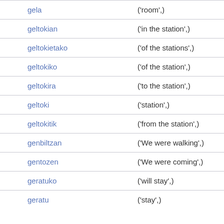| Term | Definition |
| --- | --- |
| gela | ('room',) |
| geltokian | ('in the station',) |
| geltokietako | ('of the stations',) |
| geltokiko | ('of the station',) |
| geltokira | ('to the station',) |
| geltoki | ('station',) |
| geltokitik | ('from the station',) |
| genbiltzan | ('We were walking',) |
| gentozen | ('We were coming',) |
| geratuko | ('will stay',) |
| geratu | ('stay',) |